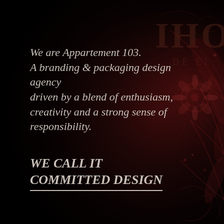[Figure (illustration): Dark background with a decorative Japanese-style tattoo illustration of a phoenix or dragon with floral elements in deep red and white tones, partially visible on the right side. Letters 'IHO' and 'DE EL' faintly visible as part of a bottle label in the upper right.]
We are Appartement 103. A branding & packaging design agency driven by a blend of enthusiasm, creativity and a strong sense of responsibility.
WE CALL IT COMMITTED DESIGN